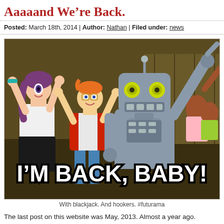Aaaaand We're Back.
Posted: March 18th, 2014 | Author: Nathan | Filed under: news
[Figure (illustration): Futurama characters (Leela, Fry, Bender) celebrating with text overlay reading I'M BACK, BABY!]
With blackjack. And hookers. #futurama
The last post on this website was May, 2013. Almost a year ago.